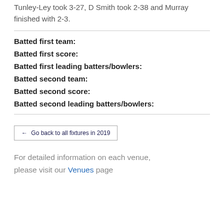Tunley-Ley took 3-27, D Smith took 2-38 and Murray finished with 2-3.
Batted first team:
Batted first score:
Batted first leading batters/bowlers:
Batted second team:
Batted second score:
Batted second leading batters/bowlers:
Go back to all fixtures in 2019
For detailed information on each venue, please visit our Venues page